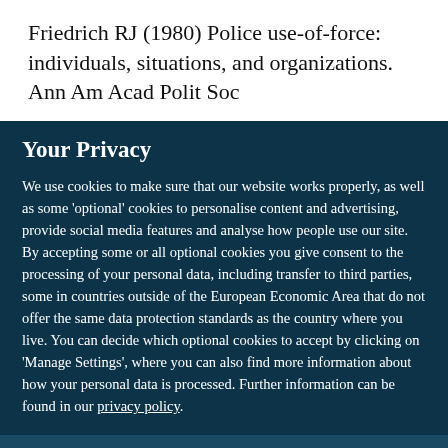Friedrich RJ (1980) Police use-of-force: individuals, situations, and organizations. Ann Am Acad Polit Soc
Your Privacy
We use cookies to make sure that our website works properly, as well as some 'optional' cookies to personalise content and advertising, provide social media features and analyse how people use our site. By accepting some or all optional cookies you give consent to the processing of your personal data, including transfer to third parties, some in countries outside of the European Economic Area that do not offer the same data protection standards as the country where you live. You can decide which optional cookies to accept by clicking on 'Manage Settings', where you can also find more information about how your personal data is processed. Further information can be found in our privacy policy.
Accept all cookies
Manage preferences